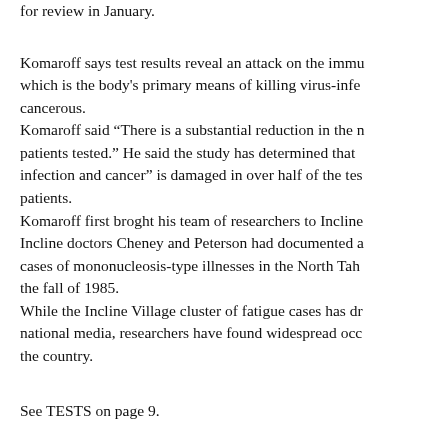for review in January.
Komaroff says test results reveal an attack on the immune system, which is the body's primary means of killing virus-infected and cancerous. Komaroff said “There is a substantial reduction in the number of patients tested.” He said the study has determined that the “killer of infection and cancer” is damaged in over half of the tested patients.
Komaroff first broght his team of researchers to Incline Village. Incline doctors Cheney and Peterson had documented a cluster of cases of mononucleosis-type illnesses in the North Tahoe area in the fall of 1985. While the Incline Village cluster of fatigue cases has drawn national media, researchers have found widespread occurrence across the country.
See TESTS on page 9.